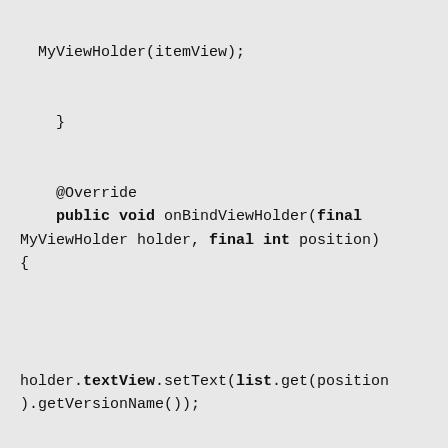MyViewHolder(itemView);

    }

    @Override
    public void onBindViewHolder(final MyViewHolder holder, final int position)
    {




holder.textView.setText(list.get(position).getVersionName());

holder.imageView.setImageResource(list.get(position).getImageResourseId());

        // implement setOnClickListener